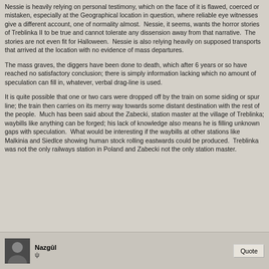Nessie is heavily relying on personal testimony, which on the face of it is flawed, coerced or mistaken, especially at the Geographical location in question, where reliable eye witnesses give a different account, one of normality almost.  Nessie, it seems, wants the horror stories of Treblinka II to be true and cannot tolerate any dissension away from that narrative.  The stories are not even fit for Halloween.  Nessie is also relying heavily on supposed transports that arrived at the location with no evidence of mass departures.
The mass graves, the diggers have been done to death, which after 6 years or so have reached no satisfactory conclusion; there is simply information lacking which no amount of speculation can fill in, whatever, verbal drag-line is used.
It is quite possible that one or two cars were dropped off by the train on some siding or spur line; the train then carries on its merry way towards some distant destination with the rest of the people.  Much has been said about the Zabecki, station master at the village of Treblinka; waybills like anything can be forged; his lack of knowledge also means he is filling unknown gaps with speculation.  What would be interesting if the waybills at other stations like Malkinia and Siedlce showing human stock rolling eastwards could be produced.  Treblinka was not the only railways station in Poland and Zabecki not the only station master.
Nazgûl ψ  Quote